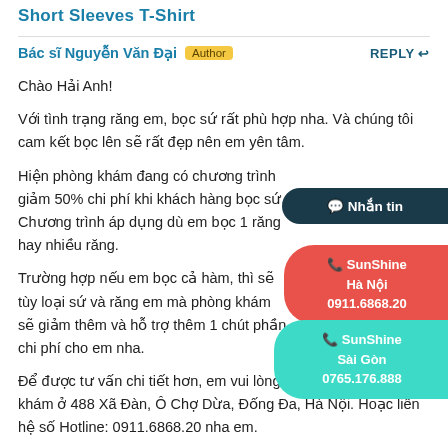Short Sleeves T-Shirt
Bác sĩ Nguyễn Văn Đại  Author    REPLY ↩
Chào Hải Anh!
Với tình trạng răng em, bọc sứ rất phù hợp nha. Và chúng tôi cam kết bọc lên sẽ rất đẹp nên em yên tâm.
Hiện phòng khám đang có chương trình giảm 50% chi phí khi khách hàng bọc sứ. Chương trình áp dụng dù em bọc 1 răng hay nhiều răng.
Trường hợp nếu em bọc cả hàm, thì sẽ tùy loại sứ và răng em mà phòng khám sẽ giảm thêm và hỗ trợ thêm 1 chút phần chi phí cho em nha.
Để được tư vấn chi tiết hơn, em vui lòng đến trực tiếp phòng khám ở 488 Xã Đàn, Ô Chợ Dừa, Đống Đa, Hà Nội. Hoặc liên hệ số Hotline: 0911.6868.20 nha em.
Cảm ơn Hải Anh!